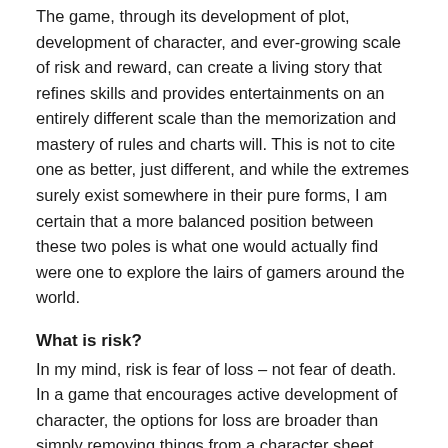The game, through its development of plot, development of character, and ever-growing scale of risk and reward, can create a living story that refines skills and provides entertainments on an entirely different scale than the memorization and mastery of rules and charts will. This is not to cite one as better, just different, and while the extremes surely exist somewhere in their pure forms, I am certain that a more balanced position between these two poles is what one would actually find were one to explore the lairs of gamers around the world.
What is risk?
In my mind, risk is fear of loss – not fear of death. In a game that encourages active development of character, the options for loss are broader than simply removing things from a character sheet, such as hit points, items, or funds. The ongoing story is woven of interconnections